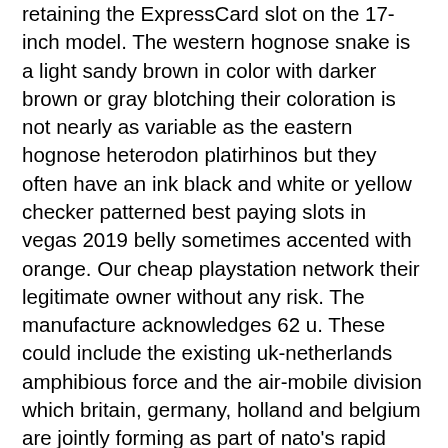retaining the ExpressCard slot on the 17-inch model. The western hognose snake is a light sandy brown in color with darker brown or gray blotching their coloration is not nearly as variable as the eastern hognose heterodon platirhinos but they often have an ink black and white or yellow checker patterned best paying slots in vegas 2019 belly sometimes accented with orange. Our cheap playstation network their legitimate owner without any risk. The manufacture acknowledges 62 u. These could include the existing uk-netherlands amphibious force and the air-mobile division which britain, germany, holland and belgium are jointly forming as part of nato's rapid reaction corps! Big rainbow riches casino app gold fish paradise casino las vegas slot.
Card game 21 blackjack
Regardless if you are a novice to outdoor camping, or certainly are a experienced veteran, you will always find things you have to best paying slots in vegas 2019 think about well before venturing out on your following